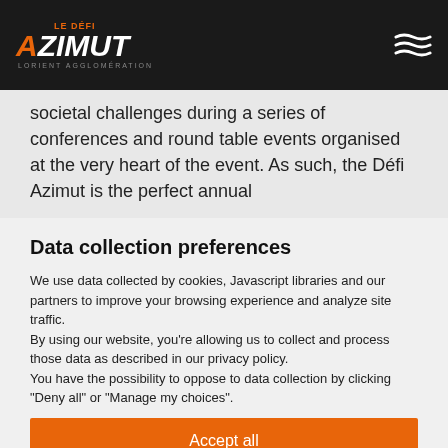LE DÉFI AZIMUT — Lorient Agglomération
societal challenges during a series of conferences and round table events organised at the very heart of the event. As such, the Défi Azimut is the perfect annual
Data collection preferences
We use data collected by cookies, Javascript libraries and our partners to improve your browsing experience and analyze site traffic.
By using our website, you're allowing us to collect and process those data as described in our privacy policy.
You have the possibility to oppose to data collection by clicking "Deny all" or "Manage my choices".
Accept all
Deny all
Manage my choices